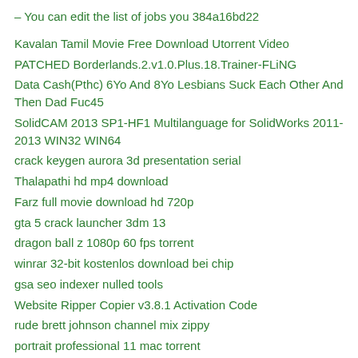– You can edit the list of jobs you 384a16bd22
Kavalan Tamil Movie Free Download Utorrent Video
PATCHED Borderlands.2.v1.0.Plus.18.Trainer-FLiNG
Data Cash(Pthc) 6Yo And 8Yo Lesbians Suck Each Other And Then Dad Fuc45
SolidCAM 2013 SP1-HF1 Multilanguage for SolidWorks 2011-2013 WIN32 WIN64
crack keygen aurora 3d presentation serial
Thalapathi hd mp4 download
Farz full movie download hd 720p
gta 5 crack launcher 3dm 13
dragon ball z 1080p 60 fps torrent
winrar 32-bit kostenlos download bei chip
gsa seo indexer nulled tools
Website Ripper Copier v3.8.1 Activation Code
rude brett johnson channel mix zippy
portrait professional 11 mac torrent
Kal Ho Naa Ho Songs Hd 1080p Blu-ray Movie Download
model hotarare aga drept semnatura banca
forstchen lost regiment ebook download
adobe flash pro cs6 chingliu crack
Ace Timetables 2007 Serial Keygen